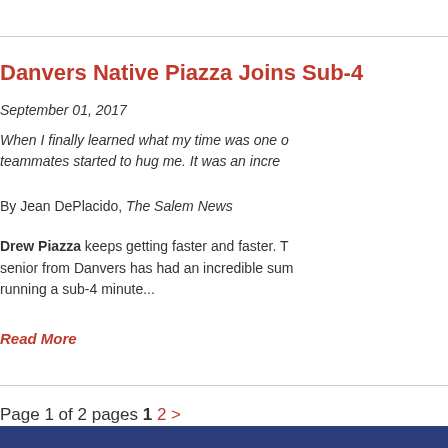Danvers Native Piazza Joins Sub-4
September 01, 2017
When I finally learned what my time was one of my teammates started to hug me. It was an incre...
By Jean DePlacido, The Salem News
Drew Piazza keeps getting faster and faster. The senior from Danvers has had an incredible sum running a sub-4 minute...
Read More
Page 1 of 2 pages 1 2 >